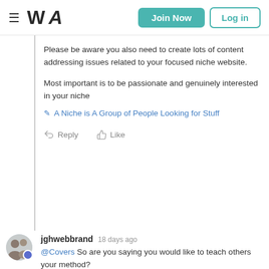WA  Join Now  Log in
Please be aware you also need to create lots of content addressing issues related to your focused niche website.
Most important is to be passionate and genuinely interested in your niche
✏ A Niche is A Group of People Looking for Stuff
Reply  Like
jghwebbrand 18 days ago @Covers So are you saying you would like to teach others your method? And would they be experienced or beginners you wish to help? It is important to have a targeted group of people you wish to help when you write informational posts about your niche. You will be writing posts for people to read on your website - who would be the audience you wish to write for and help? You will be